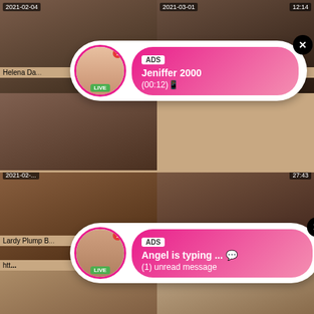[Figure (screenshot): Video thumbnail grid with adult content, overlaid with two ad popups. Top-left thumbnail dated 2021-02-04, text 'Helena Da...'. Top-right thumbnail dated 2021-03-01, duration 12:14, text '...nit den'. Middle-left thumbnail dated 2021-02-..., text 'Lardy Plump B...'. Middle-right duration 27:43, text '...k - Sybil A'. Bottom-left thumbnail dated 2021-03-08, duration 9:00, text 'You can do Homework later, now you get...'. Bottom-right thumbnail dated 2021-03-11, duration 38:37, text 'Big ass shemale'. Two ad popups overlaid: first with 'Jeniffer 2000 (00:12)', second with 'Angel is typing ... (1) unread message'.]